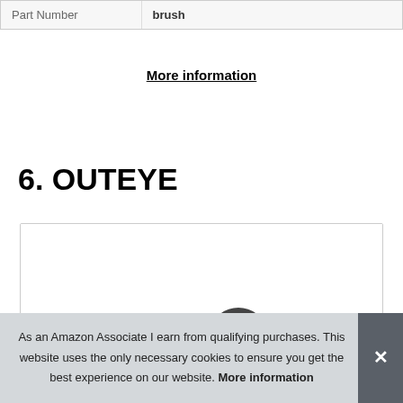| Part Number | brush |
More information
6. OUTEYE
[Figure (photo): Product image area showing a dark item at top and colorful items at the bottom strip]
As an Amazon Associate I earn from qualifying purchases. This website uses the only necessary cookies to ensure you get the best experience on our website. More information